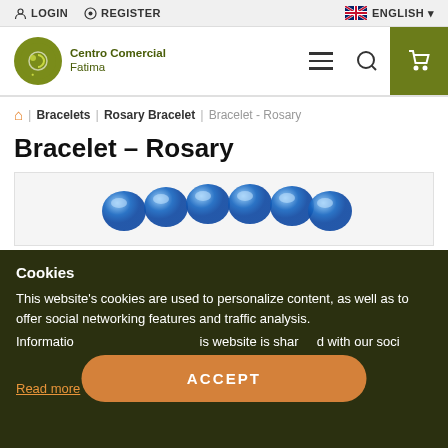LOGIN   REGISTER   ENGLISH
[Figure (logo): Centro Comercial Fatima logo with green circular icon]
Bracelets | Rosary Bracelet | Bracelet - Rosary
Bracelet – Rosary
[Figure (photo): Photo of blue crystal/glass bead rosary bracelet]
Cookies
This website's cookies are used to personalize content, as well as to offer social networking features and traffic analysis.
Information about your use of this website is shared with our social
Read more
ACCEPT